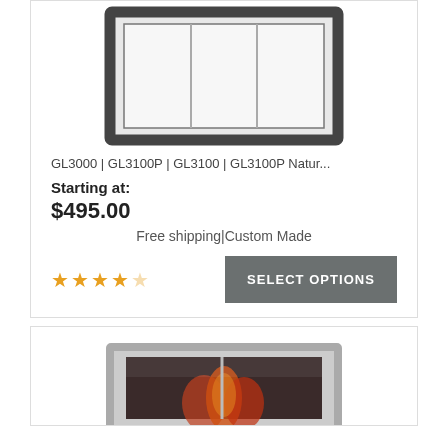[Figure (illustration): Fireplace door product image - dark metal frame with white glass panels shown from front view, three panel configuration]
GL3000 | GL3100P | GL3100 | GL3100P Natur...
Starting at:
$495.00
Free shipping|Custom Made
[Figure (other): Star rating: 4 out of 5 stars (golden stars)]
SELECT OPTIONS
[Figure (photo): Second product image - fireplace door with silver/chrome frame showing a fireplace interior with flames visible]